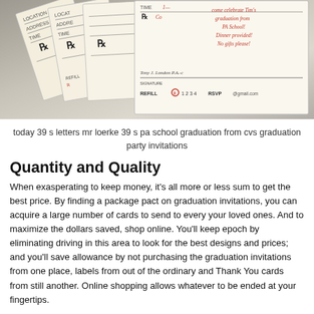[Figure (photo): Photo of several prescription-style party invitations fanned out, styled to look like pharmacy prescription pads. The front card shows red handwritten text reading 'come celebrate Tim's graduation from PA School! Dinner provided! No gifts please!' with a signature line, 'REFILL 0 1 2 3 4 RSVP @gmail.com' at the bottom. Other cards behind show Rx symbols, location, address, and time fields.]
today 39 s letters mr loerke 39 s pa school graduation from cvs graduation party invitations
Quantity and Quality
When exasperating to keep money, it's all more or less sum to get the best price. By finding a package pact on graduation invitations, you can acquire a large number of cards to send to every your loved ones. And to maximize the dollars saved, shop online. You'll keep epoch by eliminating driving in this area to look for the best designs and prices; and you'll save allowance by not purchasing the graduation invitations from one place, labels from out of the ordinary and Thank You cards from still another. Online shopping allows whatever to be ended at your fingertips.